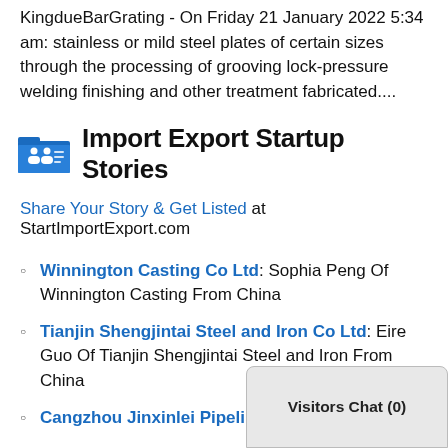KingdueBarGrating - On Friday 21 January 2022 5:34 am: stainless or mild steel plates of certain sizes through the processing of grooving lock-pressure welding finishing and other treatment fabricated....
Import Export Startup Stories
Share Your Story & Get Listed at StartImportExport.com
Winnington Casting Co Ltd: Sophia Peng Of Winnington Casting From China
Tianjin Shengjintai Steel and Iron Co Ltd: Eire Guo Of Tianjin Shengjintai Steel and Iron From China
Cangzhou Jinxinlei Pipeline ... o Of